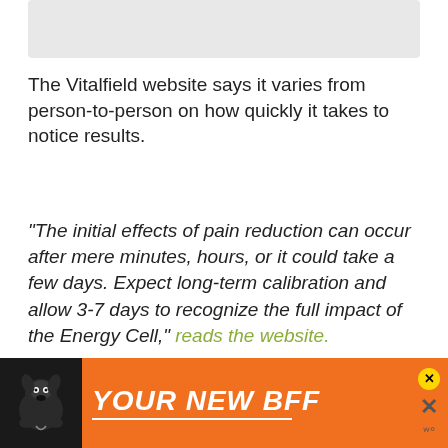[Figure (other): Gray placeholder image box at the top of the page]
The Vitalfield website says it varies from person-to-person on how quickly it takes to notice results.
“The initial effects of pain reduction can occur after mere minutes, hours, or it could take a few days. Expect long-term calibration and allow 3-7 days to recognize the full impact of the Energy Cell,” reads the website.
HOW IT WORKED FOR
[Figure (infographic): Advertisement banner with dog image and text YOUR NEW BFF on orange background]